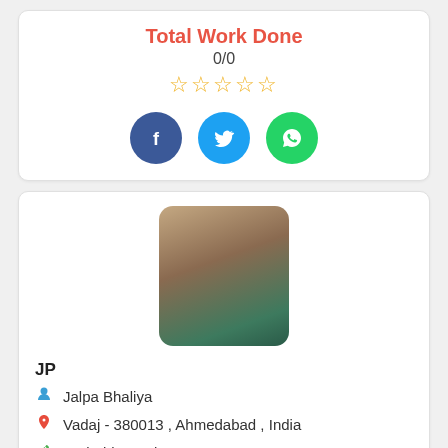Total Work Done
0/0
[Figure (other): Five empty star rating icons in orange/gold color]
[Figure (other): Three social media circular buttons: Facebook (dark blue with f), Twitter (light blue with bird), WhatsApp (green with phone icon)]
[Figure (photo): Profile photo of a woman with long dark hair, wearing a green top, smiling]
JP
Jalpa Bhaliya
Vadaj - 380013 , Ahmedabad , India
Android Developer...
Total Work D...